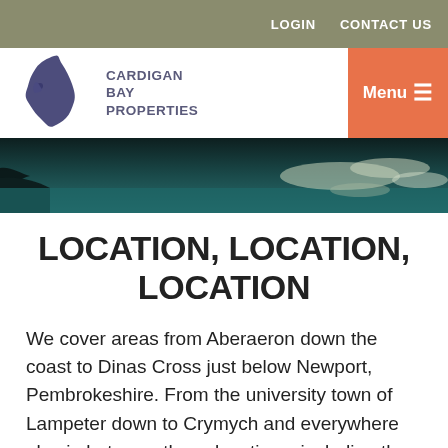LOGIN   CONTACT US
[Figure (logo): Cardigan Bay Properties logo with Wales map silhouette in dark navy and text CARDIGAN BAY PROPERTIES]
LOCATION, LOCATION, LOCATION
We cover areas from Aberaeron down the coast to Dinas Cross just below Newport, Pembrokeshire. From the university town of Lampeter down to Crymych and everywhere else in between those locations, including the very popular market towns of Cardigan and Newcastle Emlyn. If you are a tourist visitor to mid-